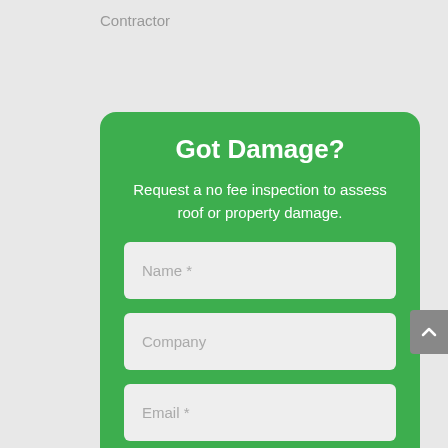Contractor
Got Damage?
Request a no fee inspection to assess roof or property damage.
Name *
Company
Email *
Phone *